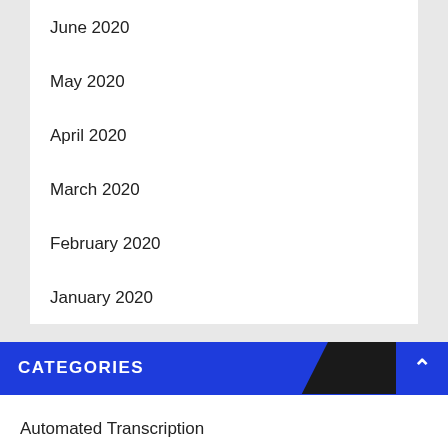June 2020
May 2020
April 2020
March 2020
February 2020
January 2020
CATEGORIES
Automated Transcription